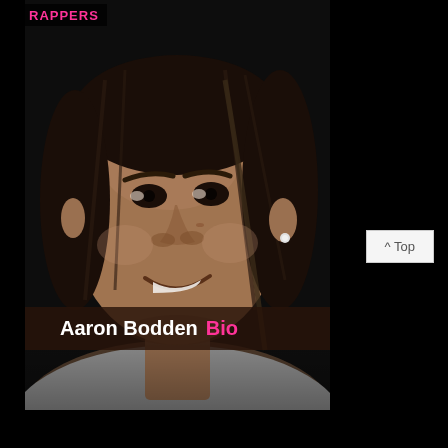RAPPERS
[Figure (photo): Close-up portrait photo of Aaron Bodden, a young man with braided dreadlocks, smiling, wearing a small stud earring, dark background]
Aaron Bodden Bio
^ Top